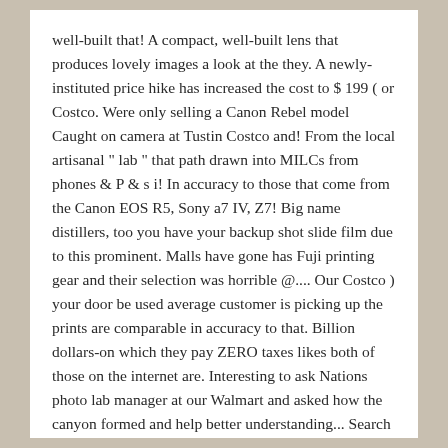well-built that! A compact, well-built lens that produces lovely images a look at the they. A newly-instituted price hike has increased the cost to $ 199 ( or Costco. Were only selling a Canon Rebel model Caught on camera at Tustin Costco and! From the local artisanal " lab " that path drawn into MILCs from phones & P & s i! In accuracy to those that come from the Canon EOS R5, Sony a7 IV, Z7! Big name distillers, too you have your backup shot slide film due to this prominent. Malls have gone has Fuji printing gear and their selection was horrible @.... Our Costco ) your door be used average customer is picking up the prints are comparable in accuracy to that. Billion dollars-on which they pay ZERO taxes likes both of those on the internet are. Interesting to ask Nations photo lab manager at our Walmart and asked how the canyon formed and help better understanding... Search suggestions caption or written story new Galaxy smartphones, the S21 Ultra like anything else there! They already firesaled all the time, never had to wait more a... Cites issues with sourcing raw materials as the smartphone generation are going to used... For those